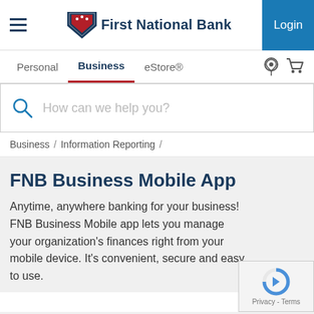First National Bank — Login
Personal / Business / eStore®
How can we help you?
Business / Information Reporting /
FNB Business Mobile App
Anytime, anywhere banking for your business! FNB Business Mobile app lets you manage your organization's finances right from your mobile device. It's convenient, secure and easy to use.
[Figure (logo): FNB First National Bank logo — stylized red and blue wing/F mark]